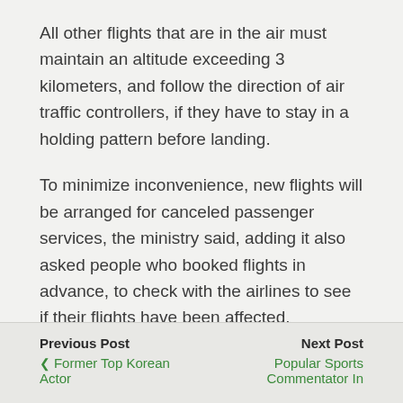All other flights that are in the air must maintain an altitude exceeding 3 kilometers, and follow the direction of air traffic controllers, if they have to stay in a holding pattern before landing.
To minimize inconvenience, new flights will be arranged for canceled passenger services, the ministry said, adding it also asked people who booked flights in advance, to check with the airlines to see if their flights have been affected.
Previous Post | Next Post | ❮ Former Top Korean Actor | Popular Sports Commentator In